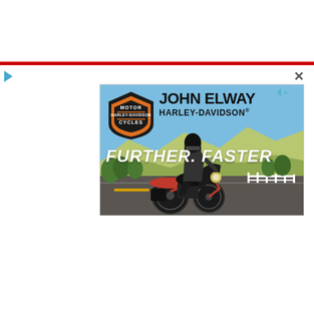[Figure (illustration): John Elway Harley-Davidson advertisement. Shows the Harley-Davidson Motor Cycles logo on left, 'JOHN ELWAY HARLEY-DAVIDSON®' brand text on right, 'FURTHER. FASTER' slogan in white italic text, and a motorcyclist riding a red and black Harley-Davidson motorcycle on an open road with blue sky, mountains, and desert landscape background. Page also shows a red navigation bar and close/play UI chrome.]